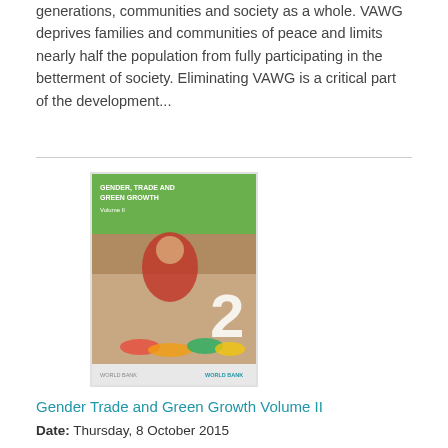generations, communities and society as a whole. VAWG deprives families and communities of peace and limits nearly half the population from fully participating in the betterment of society. Eliminating VAWG is a critical part of the development...
[Figure (illustration): Book cover of 'Gender Trade and Green Growth Volume II' with green header and an image of a woman selling vegetables at a market]
Gender Trade and Green Growth Volume II
Date: Thursday, 8 October 2015
In Volume II of this report, we present detailed analysis of four industries/sectors that are regarded as green or 'close to green'. This includes an analysis of the horticulture and agro processing industry in Bangladesh; agro processing in Bhutan; renewable energy and organic horticulture in India; and ecotourism in Nepal. The focus in each study is to examine the pattern of women's employment in the relevant sector using information gathered directly from the fi eld and from...